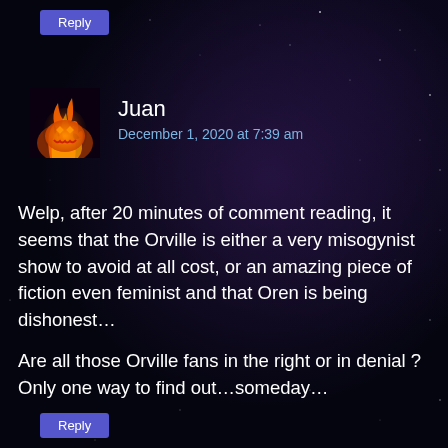[Figure (screenshot): Dark space/starfield background for a website comment section]
Reply (button at top)
Juan
December 1, 2020 at 7:39 am
Welp, after 20 minutes of comment reading, it seems that the Orville is either a very misogynist show to avoid at all cost, or an amazing piece of fiction even feminist and that Oren is being dishonest…
Are all those Orville fans in the right or in denial ? Only one way to find out…someday…
Reply (button at bottom)